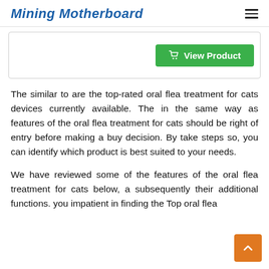Mining Motherboard
The similar to are the top-rated oral flea treatment for cats devices currently available. The in the same way as features of the oral flea treatment for cats should be right of entry before making a buy decision. By take steps so, you can identify which product is best suited to your needs.
We have reviewed some of the features of the oral flea treatment for cats below, a subsequently their additional functions. you impatient in finding the Top oral flea